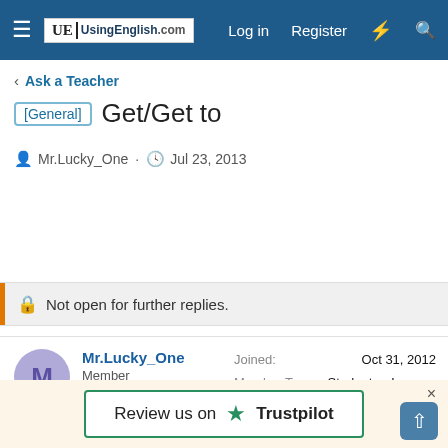UsingEnglish.com | Log in | Register
< Ask a Teacher
[General] Get/Get to
Mr.Lucky_One · Jul 23, 2013
Not open for further replies.
Mr.Lucky_One
Member
Joined: Oct 31, 2012
Member Type: Student or Learner
Native Language: Russian
Home Country: Russian Federation
[Figure (screenshot): Trustpilot review prompt box with green star and 'Review us on Trustpilot' text, close button, and scroll-to-top button]